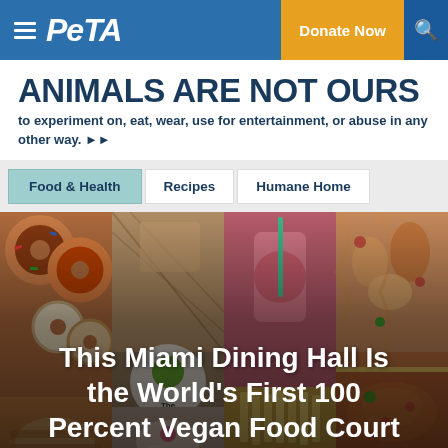[Figure (screenshot): PETA website navigation bar with blue background, hamburger menu, PETA logo, yellow Donate Now button, and search icon]
ANIMALS ARE NOT OURS
to experiment on, eat, wear, use for entertainment, or abuse in any other way. ▶▶
[Figure (screenshot): Navigation tabs: Food & Health (active, teal background), Recipes, Humane Home]
[Figure (photo): Food collage showing donuts, food dishes, smoothie with straw, and pizza. Article title overlay reads: This Miami Dining Hall Is the World's First 100 Percent Vegan Food Court. Attribution: © Instagram.com/ThevShopsFoodHall]
© Instagram.com/ThevShopsFoodHall